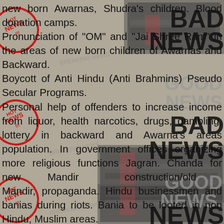new born Awarnas, Shudra's children. Blood donation camps. Pronunciation of "OM" and "Jai Shree Ram" in the areas of new born children of Awarnas and Backward. Boycott of Anti Hindu (Anti Brahmins) Pseudo Secular Programs. Personal help of offenders to increase income from liquor, health narcotics, drugs, gambling, lottery in backward and Awarna's areas population. In government offices organizing more religious functions Jagran. Chanda for new Mandir construction/old Mandir, propaganda. Hindu businessmen and banias during riots. Bania to be looted in non Hindu, Muslim areas. Induction of Awarnas/Muslim girls in flesh
[Figure (photo): Background collage with stamped 'HOT NEWS' seals in red, overlapping images of what appears to be weapons or machinery, and large watermark-style text reading 'BAD NEWS' and 'GOOD NEWS' in alternating patterns]